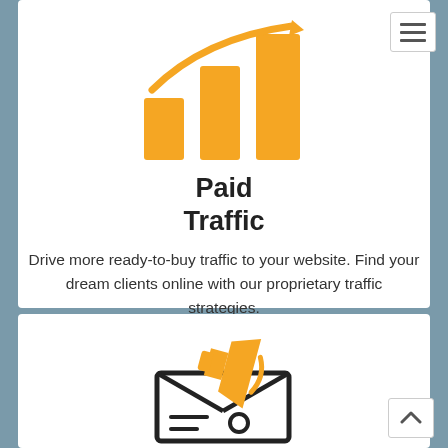[Figure (illustration): Orange bar chart icon with upward trending arrow curve on top, representing paid traffic growth]
Paid Traffic
Drive more ready-to-buy traffic to your website. Find your dream clients online with our proprietary traffic strategies.
[Figure (illustration): Black outline envelope icon with orange megaphone/bullhorn sticking out from the top, representing email marketing or advertising]